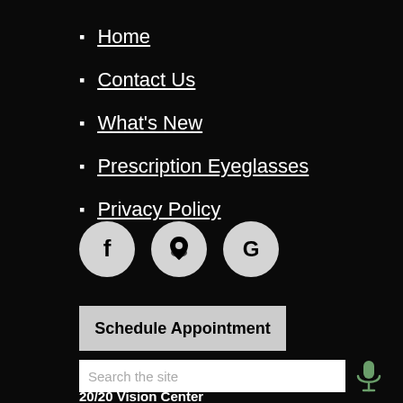Home
Contact Us
What's New
Prescription Eyeglasses
Privacy Policy
[Figure (other): Social media icon buttons: Facebook (f), Google Maps pin, and Google (G) in circular grey buttons]
Schedule Appointment
Search the site
20/20 Vision Center
3501 S. Shields St.